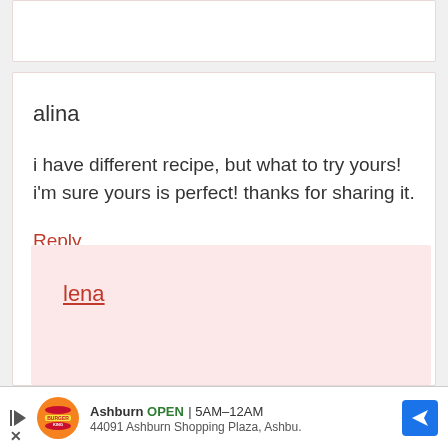alina
i have different recipe, but what to try yours! i'm sure yours is perfect! thanks for sharing it.
Reply
lena
Ashburn  OPEN  5AM–12AM  44091 Ashburn Shopping Plaza, Ashbu.